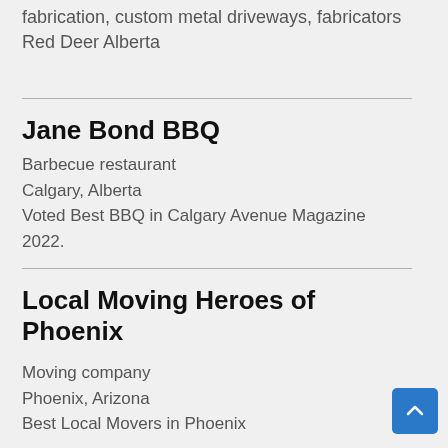fabrication, custom metal driveways, fabricators Red Deer Alberta
Jane Bond BBQ
Barbecue restaurant
Calgary, Alberta
Voted Best BBQ in Calgary Avenue Magazine 2022.
Local Moving Heroes of Phoenix
Moving company
Phoenix, Arizona
Best Local Movers in Phoenix